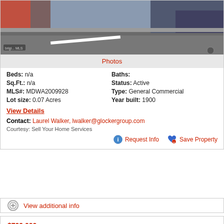[Figure (photo): Street-level photo of a road/intersection, appears to be taken from above or at street level, showing pavement with a white line marking. Bright watermark in lower left corner.]
Photos
Beds: n/a   Baths:
Sq.Ft.: n/a   Status: Active
MLS#: MDWA2009928   Type: General Commercial
Lot size: 0.07 Acres   Year built: 1900
View Details
Contact: Laurel Walker, lwalker@glockergroup.com
Courtesy: Sell Your Home Services
Request Info   Save Property
View additional info
$799,000
200-202- E WASHINGTON STREET HAGERSTOWN, MD